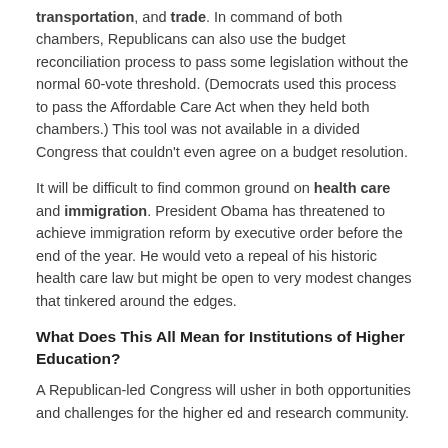transportation, and trade. In command of both chambers, Republicans can also use the budget reconciliation process to pass some legislation without the normal 60-vote threshold. (Democrats used this process to pass the Affordable Care Act when they held both chambers.) This tool was not available in a divided Congress that couldn't even agree on a budget resolution.
It will be difficult to find common ground on health care and immigration. President Obama has threatened to achieve immigration reform by executive order before the end of the year. He would veto a repeal of his historic health care law but might be open to very modest changes that tinkered around the edges.
What Does This All Mean for Institutions of Higher Education?
A Republican-led Congress will usher in both opportunities and challenges for the higher ed and research community.